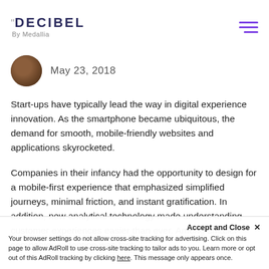DECIBEL By Medallia
May 23, 2018
Start-ups have typically lead the way in digital experience innovation. As the smartphone became ubiquitous, the demand for smooth, mobile-friendly websites and applications skyrocketed.
Companies in their infancy had the opportunity to design for a mobile-first experience that emphasized simplified journeys, minimal friction, and instant gratification. In addition, new analytical technology made understanding customer experiences easier than ever. Among smaller companies, adoption was fast,
Accept and Close ✕
Your browser settings do not allow cross-site tracking for advertising. Click on this page to allow AdRoll to use cross-site tracking to tailor ads to you. Learn more or opt out of this AdRoll tracking by clicking here. This message only appears once.